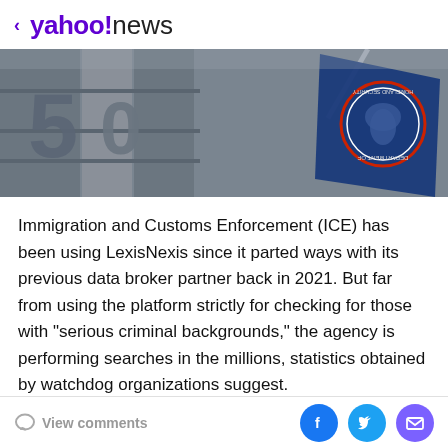< yahoo!news
[Figure (photo): A blue Department of Homeland Security flag flying outside a building with large numbers on the facade, viewed from below against a gray sky.]
Immigration and Customs Enforcement (ICE) has been using LexisNexis since it parted ways with its previous data broker partner back in 2021. But far from using the platform strictly for checking for those with "serious criminal backgrounds," the agency is performing searches in the millions, statistics obtained by watchdog organizations suggest.
View comments